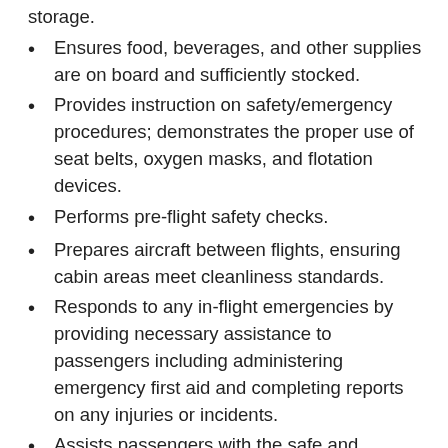storage.
Ensures food, beverages, and other supplies are on board and sufficiently stocked.
Provides instruction on safety/emergency procedures; demonstrates the proper use of seat belts, oxygen masks, and flotation devices.
Performs pre-flight safety checks.
Prepares aircraft between flights, ensuring cabin areas meet cleanliness standards.
Responds to any in-flight emergencies by providing necessary assistance to passengers including administering emergency first aid and completing reports on any injuries or incidents.
Assists passengers with the safe and efficient exit of the aircraft.